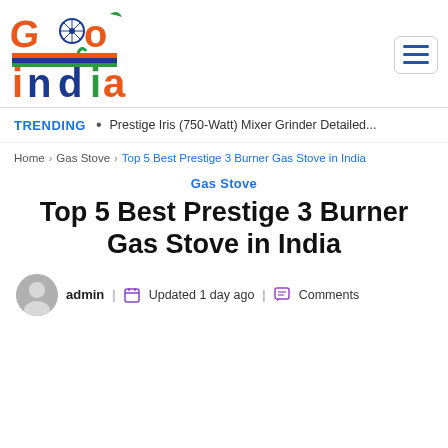[Figure (logo): Go India website logo with colorful lettering in orange, blue, and green]
TRENDING • Prestige Iris (750-Watt) Mixer Grinder Detailed...
Home > Gas Stove > Top 5 Best Prestige 3 Burner Gas Stove in India
Gas Stove
Top 5 Best Prestige 3 Burner Gas Stove in India
admin | Updated 1 day ago | Comments